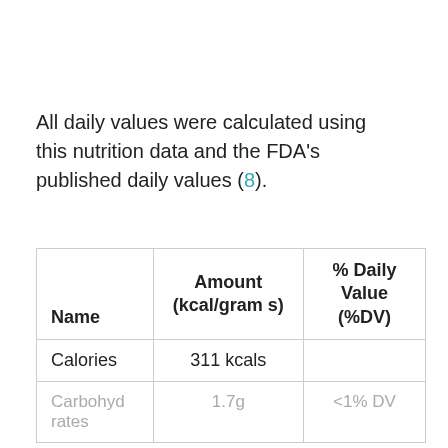All daily values were calculated using this nutrition data and the FDA's published daily values (8).
| Name | Amount (kcal/grams) | % Daily Value (%DV) |
| --- | --- | --- |
| Calories | 311 kcals |  |
| Carbohydrates | 1.7g | <1% DV |